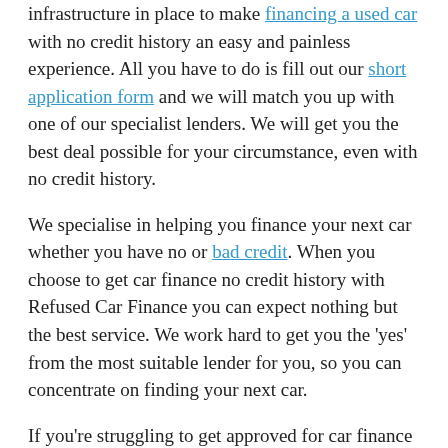infrastructure in place to make financing a used car with no credit history an easy and painless experience. All you have to do is fill out our short application form and we will match you up with one of our specialist lenders. We will get you the best deal possible for your circumstance, even with no credit history.
We specialise in helping you finance your next car whether you have no or bad credit. When you choose to get car finance no credit history with Refused Car Finance you can expect nothing but the best service. We work hard to get you the 'yes' from the most suitable lender for you, so you can concentrate on finding your next car.
If you're struggling to get approved for car finance with no credit history, you could consider applying for a joint car finance application. A joint car finance application is accepted by many lenders on our panel. This type of application is when two people